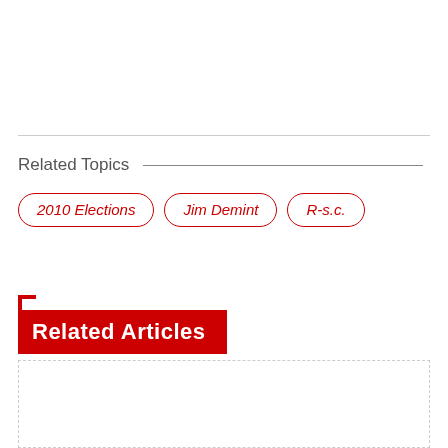Related Topics
2010 Elections
Jim Demint
R-s.c.
Related Articles
[Figure (other): Empty dashed rectangle placeholder for related articles content]